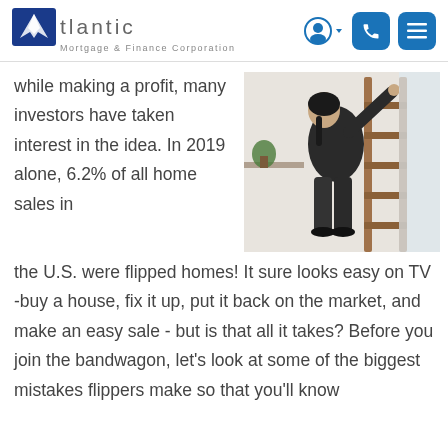Atlantic Mortgage & Finance Corporation
[Figure (photo): Person on a ladder painting or doing renovation work on a wall indoors]
while making a profit, many investors have taken interest in the idea. In 2019 alone, 6.2% of all home sales in the U.S. were flipped homes! It sure looks easy on TV -buy a house, fix it up, put it back on the market, and make an easy sale - but is that all it takes? Before you join the bandwagon, let's look at some of the biggest mistakes flippers make so that you'll know